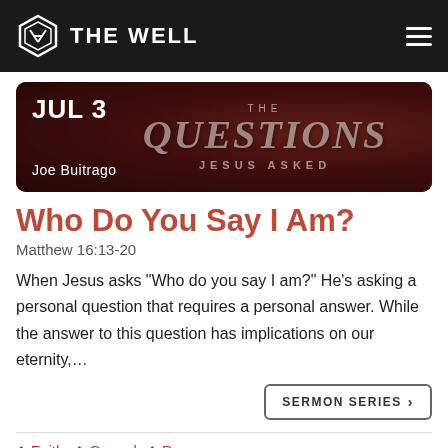THE WELL
[Figure (other): Sermon series banner: JUL 3, The Questions Jesus Asked, Joe Buitrago]
Who Do You Say I Am?
Matthew 16:13-20
When Jesus asks "Who do you say I am?" He's asking a personal question that requires a personal answer. While the answer to this question has implications on our eternity,...
SERMON SERIES >
Faith
Gospel
Purpose